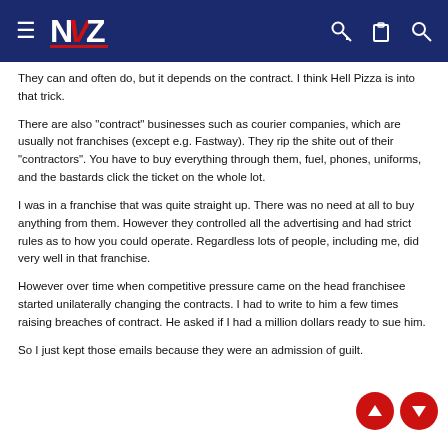NZ (logo navigation bar)
They can and often do, but it depends on the contract. I think Hell Pizza is into that trick.
There are also "contract" businesses such as courier companies, which are usually not franchises (except e.g. Fastway). They rip the shite out of their "contractors". You have to buy everything through them, fuel, phones, uniforms, and the bastards click the ticket on the whole lot.
I was in a franchise that was quite straight up. There was no need at all to buy anything from them. However they controlled all the advertising and had strict rules as to how you could operate. Regardless lots of people, including me, did very well in that franchise.
However over time when competitive pressure came on the head franchisee started unilaterally changing the contracts. I had to write to him a few times raising breaches of contract. He asked if I had a million dollars ready to sue him.
So I just kept those emails because they were an admission of guilt.